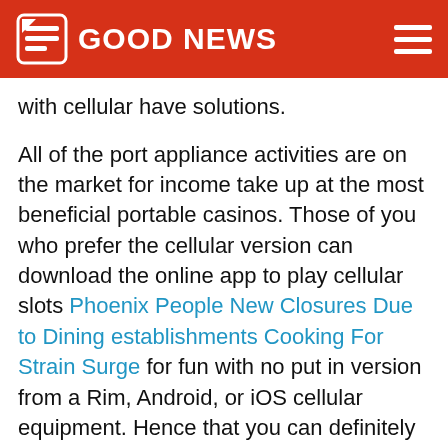GOOD NEWS
with cellular have solutions.
All of the port appliance activities are on the market for income take up at the most beneficial portable casinos. Those of you who prefer the cellular version can download the online app to play cellular slots Phoenix People New Closures Due to Dining establishments Cooking For Strain Surge for fun with no put in version from a Rim, Android, or iOS cellular equipment. Hence that you can definitely not have carried by the buzz of learning with great income away from you, Extra Pet cat Modern